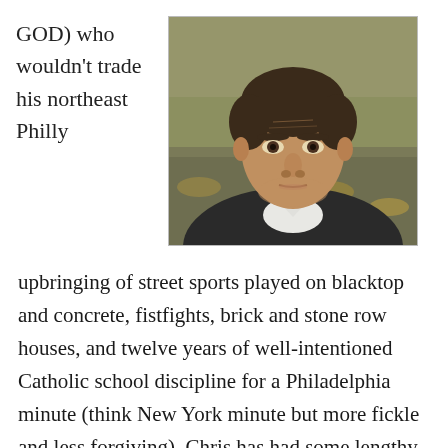GOD) who wouldn't trade his northeast Philly
[Figure (photo): Headshot of a middle-aged man with dark hair, wearing a dark suit jacket and white shirt, looking directly at the camera with a serious expression. Background suggests an outdoor setting with fallen leaves.]
upbringing of street sports played on blacktop and concrete, fistfights, brick and stone row houses, and twelve years of well-intentioned Catholic school discipline for a Philadelphia minute (think New York minute but more fickle and less forgiving). Chris has had some lengthy stops as an adult in Michigan and Connecticut, now lives in Doylestown, PA, and he thinks Pittsburgh is a great city even though some of